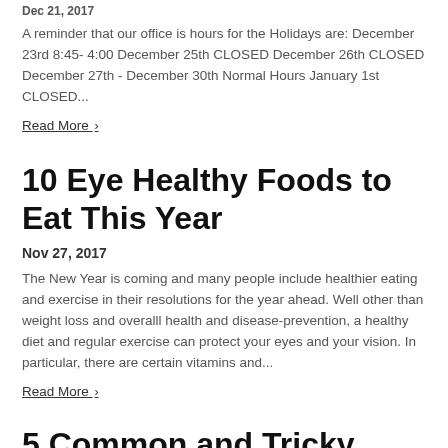Dec 21, 2017
A reminder that our office is hours for the Holidays are: December 23rd 8:45- 4:00 December 25th CLOSED December 26th CLOSED December 27th - December 30th Normal Hours January 1st CLOSED...
Read More ›
10 Eye Healthy Foods to Eat This Year
Nov 27, 2017
The New Year is coming and many people include healthier eating and exercise in their resolutions for the year ahead. Well other than weight loss and overalll health and disease-prevention, a healthy diet and regular exercise can protect your eyes and your vision. In particular, there are certain vitamins and...
Read More ›
5 Common and Tricky...